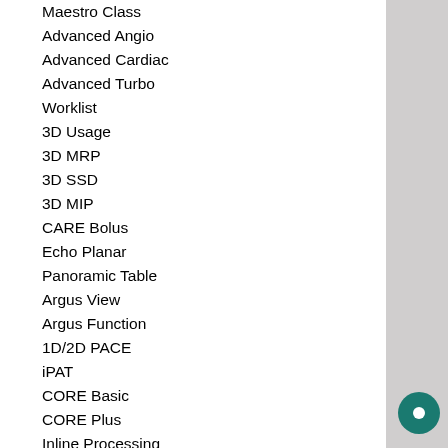Maestro Class
Advanced Angio
Advanced Cardiac
Advanced Turbo
Worklist
3D Usage
3D MRP
3D SSD
3D MIP
CARE Bolus
Echo Planar
Panoramic Table
Argus View
Argus Function
1D/2D PACE
iPAT
CORE Basic
CORE Plus
Inline Processing
CP Head Array
CP Neck Array
CP Spine Array
CP Body Array
CP Extremity
CP Flex Large
CP Flex Small
Shoulder Array Large
Shoulder Array Small